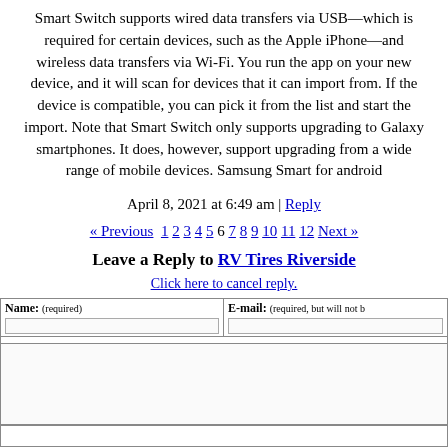Smart Switch supports wired data transfers via USB—which is required for certain devices, such as the Apple iPhone—and wireless data transfers via Wi-Fi. You run the app on your new device, and it will scan for devices that it can import from. If the device is compatible, you can pick it from the list and start the import. Note that Smart Switch only supports upgrading to Galaxy smartphones. It does, however, support upgrading from a wide range of mobile devices. Samsung Smart for android
April 8, 2021 at 6:49 am | Reply
« Previous 1 2 3 4 5 6 7 8 9 10 11 12 Next »
Leave a Reply to RV Tires Riverside
Click here to cancel reply.
| Name: (required) | E-mail: (required, but will not be published) |
| --- | --- |
|  |  |